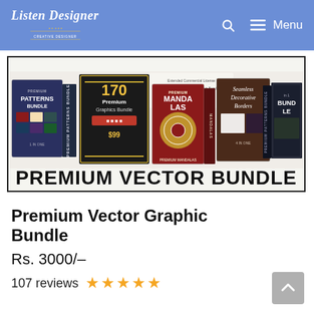Listen Designer | Menu
[Figure (illustration): Product bundle image showing various graphic design box sets including Patterns Bundle, Premium Graphics Bundle (170 Premium Graphics Bundle, was $99), Premium Mandalas, Seamless Decorative Borders, and another bundle. Large text at bottom reads PREMIUM VECTOR BUNDLE.]
Premium Vector Graphic Bundle
Rs. 3000/-
107 reviews ★★★★★